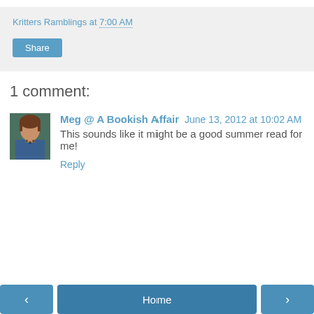Kritters Ramblings at 7:00 AM
Share
1 comment:
[Figure (photo): Avatar photo of Meg, a woman with brown hair wearing a blue top]
Meg @ A Bookish Affair June 13, 2012 at 10:02 AM
This sounds like it might be a good summer read for me!
Reply
< Home >